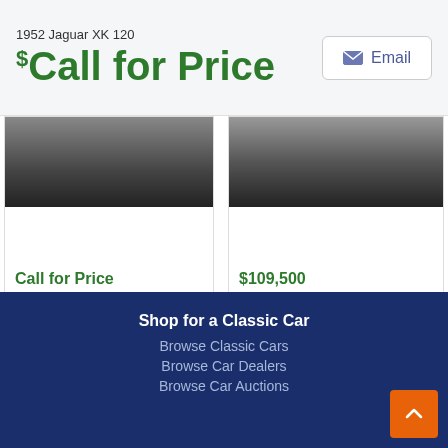1952 Jaguar XK 120 $Call for Price | Email
[Figure (photo): Dark top portion of a classic car, left card]
Call for Price
1954 Jaguar XK 120
[Figure (photo): Dark top portion of a classic car, right card]
$109,500
1968 Mercedes-Benz 280SL
Suspect Fraud? Report it
[-]
Feedback
Shop for a Classic Car
Browse Classic Cars
Browse Car Dealers
Browse Car Auctions